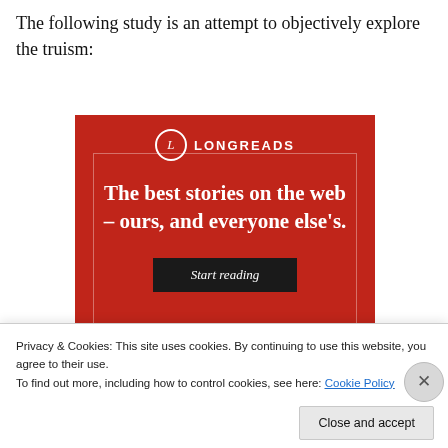The following study is an attempt to objectively explore the truism:
[Figure (screenshot): Longreads advertisement banner with red background showing logo, tagline 'The best stories on the web – ours, and everyone else's.' and a 'Start reading' button]
Privacy & Cookies: This site uses cookies. By continuing to use this website, you agree to their use.
To find out more, including how to control cookies, see here: Cookie Policy
Close and accept